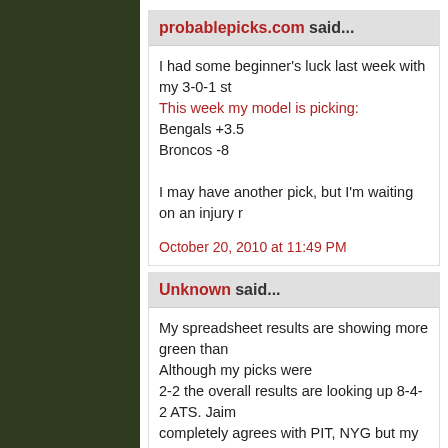probablepicks.com said... I had some beginner's luck last week with my 3-0-1 st... This week my model is picking: Bengals +3.5 Broncos -8 I may have another pick, but I'm waiting on an injury r...
October 20, 2010 at 11:49 PM
Unknown said... My spreadsheet results are showing more green than... Although my picks were 2-2 the overall results are looking up 8-4-2 ATS. Jaim... completely agrees with PIT, NYG but my play is on CA... My selections this week, nearly the same as dtBy , hu... CAR +2 NE +3 NYG +3 SEA -5.5
October 21, 2010 at 11:36 AM